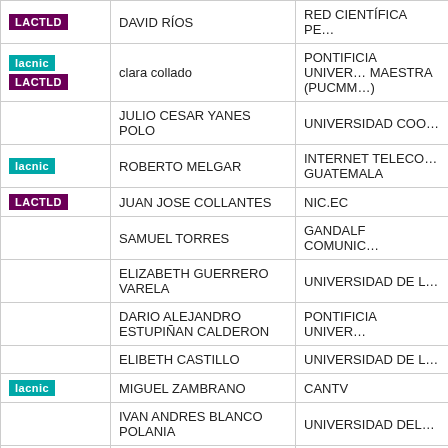|  | Name | Organization |
| --- | --- | --- |
| LACTLD | DAVID RÍOS | RED CIENTÍFICA PE… |
| lacnic
LACTLD | clara collado | PONTIFICIA UNIVER… MAESTRA (PUCMM…) |
|  | JULIO CESAR YANES POLO | UNIVERSIDAD COO… |
| lacnic | ROBERTO MELGAR | INTERNET TELECO… GUATEMALA |
| LACTLD | JUAN JOSE COLLANTES | NIC.EC |
|  | SAMUEL TORRES | GANDALF COMUNIC… |
|  | ELIZABETH GUERRERO VARELA | UNIVERSIDAD DE L… |
|  | DARIO ALEJANDRO ESTUPIÑAN CALDERON | PONTIFICIA UNIVER… |
|  | ELIBETH CASTILLO | UNIVERSIDAD DE L… |
| lacnic | MIGUEL ZAMBRANO | CANTV |
|  | IVAN ANDRES BLANCO POLANIA | UNIVERSIDAD DEL… |
|  | BYRON HERNANDEZ | ARCOM |